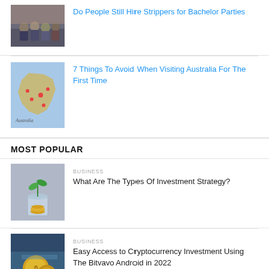[Figure (photo): Group of people at a bachelor party event]
Do People Still Hire Strippers for Bachelor Parties
[Figure (photo): Map of Australia with location pins]
7 Things To Avoid When Visiting Australia For The First Time
MOST POPULAR
BUSINESS
[Figure (photo): Plant growing from coins in a glass jar]
What Are The Types Of Investment Strategy?
BUSINESS
[Figure (photo): Cryptocurrency coins on a blue surface]
Easy Access to Cryptocurrency Investment Using The Bitvavo Android in 2022